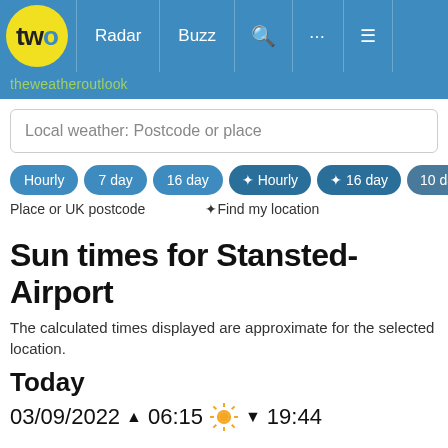two | Radar | Buzz | Search | ... | Menu
theweatheroutlook
Local weather: Postcode or place
Hourly  7 day  16 day  ⬧ Hourly  ⬧ 16 day  10 day
Place or UK postcode   ⬧Find my location
Sun times for Stansted-Airport
The calculated times displayed are approximate for the selected location.
Today
03/09/2022 ▲ 06:15 ☀ ▼ 19:44